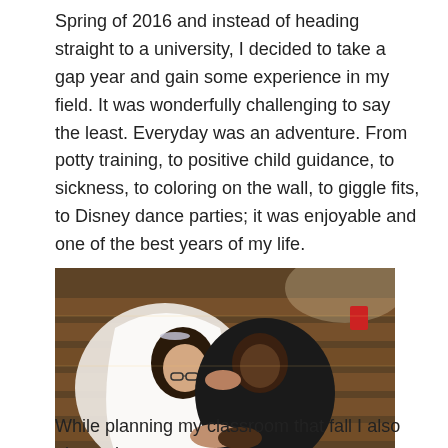Spring of 2016 and instead of heading straight to a university, I decided to take a gap year and gain some experience in my field. It was wonderfully challenging to say the least. Everyday was an adventure. From potty training, to positive child guidance, to sickness, to coloring on the wall, to giggle fits, to Disney dance parties; it was enjoyable and one of the best years of my life.
[Figure (photo): A bride and groom sharing a kiss inside a church. The bride is wearing a white veil and tiara, with glasses, and has dark curly hair. The groom is wearing a dark suit. They are seated among wooden church pews.]
While planning my classroom that fall I also planned my